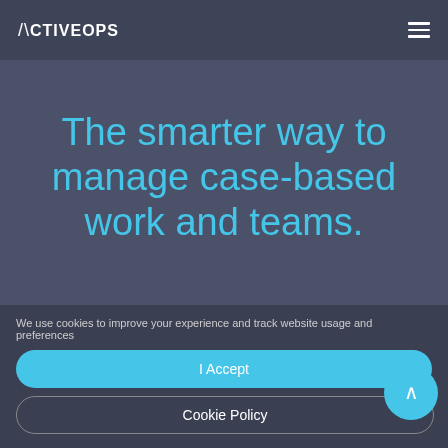ActiveOps
The smarter way to manage case-based work and teams.
We use cookies to improve your experience and track website usage and preferences
I Accept
Cookie Policy